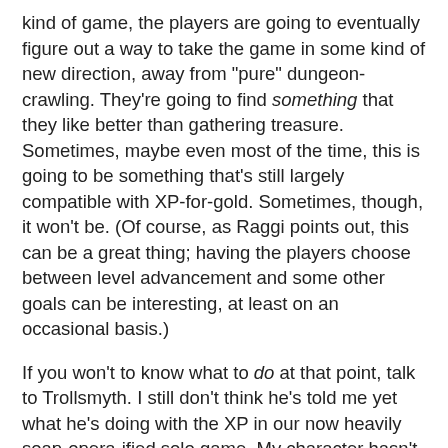kind of game, the players are going to eventually figure out a way to take the game in some kind of new direction, away from "pure" dungeon-crawling. They're going to find something that they like better than gathering treasure. Sometimes, maybe even most of the time, this is going to be something that's still largely compatible with XP-for-gold. Sometimes, though, it won't be. (Of course, as Raggi points out, this can be a great thing; having the players choose between level advancement and some other goals can be interesting, at least on an occasional basis.)
If you won't to know what to do at that point, talk to Trollsmyth. I still don't think he's told me yet what he's doing with the XP in our now heavily soap-opera-ified solo game. My character hasn't gotten any treasure in about twenty sessions. She doesn't care, and neither do I, but not every player is as nonchalant as I am about leveling, even if they are having crazy amounts of fun gossiping about boys with rakshasa and clerics or what have you.
I can, however, comment that the process itself is a very excellent thing to happen in a campaign, even if it does